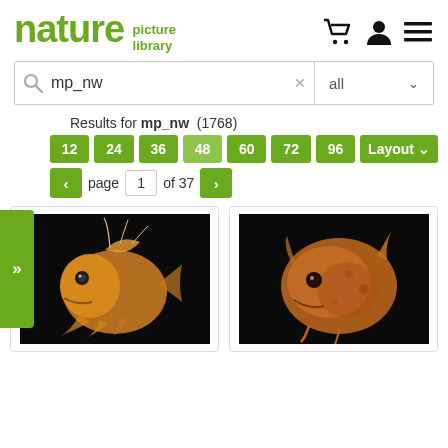[Figure (logo): Nature Picture Library logo with green text and shopping cart, user, and menu icons]
mp_nw  ×   all
Results for mp_nw (1768)
12  24  36  48  60  72  96  Layout
page 1 of 37
[Figure (photo): Orange/amber colored deep-sea anglerfish on black background, viewed from the side]
[Figure (photo): Orange/amber colored deep-sea fish on black background, rounder body shape with spike]